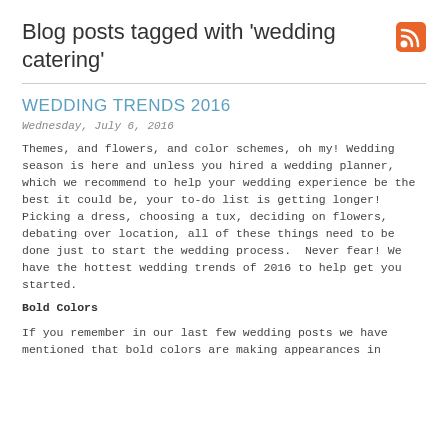Blog posts tagged with 'wedding catering'
WEDDING TRENDS 2016
Wednesday, July 6, 2016
Themes, and flowers, and color schemes, oh my! Wedding season is here and unless you hired a wedding planner, which we recommend to help your wedding experience be the best it could be, your to-do list is getting longer! Picking a dress, choosing a tux, deciding on flowers, debating over location, all of these things need to be done just to start the wedding process.  Never fear! We have the hottest wedding trends of 2016 to help get you started.
Bold Colors
If you remember in our last few wedding posts we have mentioned that bold colors are making appearances in